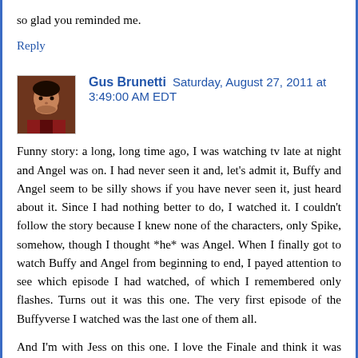so glad you reminded me.
Reply
Gus Brunetti  Saturday, August 27, 2011 at 3:49:00 AM EDT
Funny story: a long, long time ago, I was watching tv late at night and Angel was on. I had never seen it and, let's admit it, Buffy and Angel seem to be silly shows if you have never seen it, just heard about it. Since I had nothing better to do, I watched it. I couldn't follow the story because I knew none of the characters, only Spike, somehow, though I thought *he* was Angel. When I finally got to watch Buffy and Angel from beginning to end, I payed attention to see which episode I had watched, of which I remembered only flashes. Turns out it was this one. The very first episode of the Buffyverse I watched was the last one of them all.
And I'm with Jess on this one. I love the Finale and think it was one of the best series finales I've seen. (#1 is Six Feet Under's, and probably will be for a long time.) But I decided to read the comics because I'm really curious about The Wolf, The Ram and The Hart's intentions.
Wasley's death was one of the saddest things on tv. Only to think